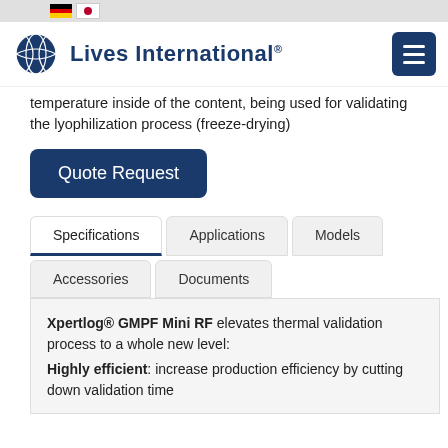Lives International® — navigation header with flag icons and hamburger menu
temperature inside of the content, being used for validating the lyophilization process (freeze-drying)
Quote Request
Specifications | Applications | Models | Accessories | Documents
Xpertlog® GMPF Mini RF elevates thermal validation process to a whole new level: Highly efficient: increase production efficiency by cutting down validation time